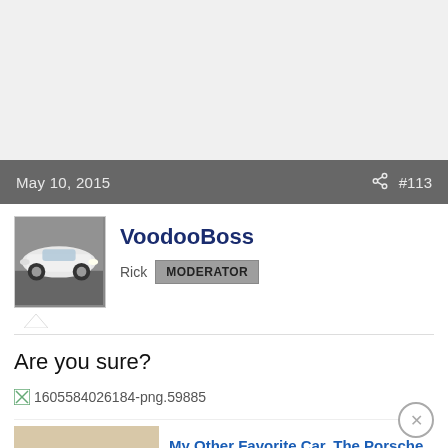May 10, 2015  #113
VoodooBoss
Rick  MODERATOR
Are you sure?
[Figure (other): Broken image placeholder with filename 1605584026184-png.59885]
[Figure (photo): White Porsche 911 on a racing track]
My Other Favorite Car, The Porsche 911
2014  Automatic